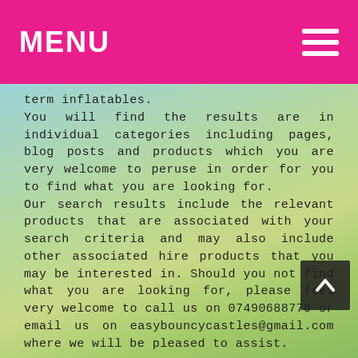MENU
term inflatables. You will find the results are in individual categories including pages, blog posts and products which you are very welcome to peruse in order for you to find what you are looking for. Our search results include the relevant products that are associated with your search criteria and may also include other associated hire products that you may be interested in. Should you not find what you are looking for, please feel very welcome to call us on 07490688770 or email us on easybouncycastles@gmail.com where we will be pleased to assist.